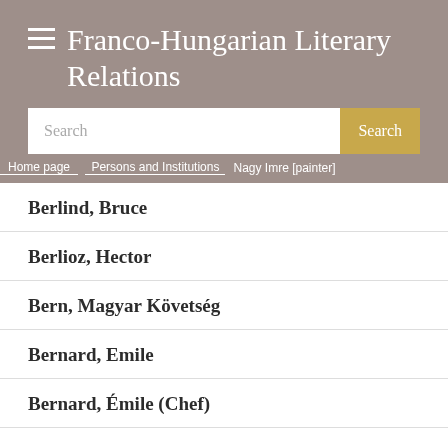Franco-Hungarian Literary Relations
Home page > Persons and Institutions > Nagy Imre [painter]
Berlind, Bruce
Berlioz, Hector
Bern, Magyar Követség
Bernard, Emile
Bernard, Émile (Chef)